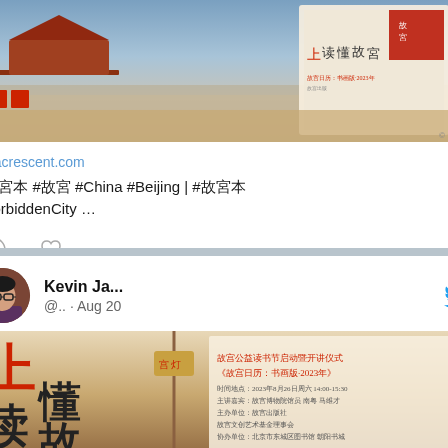[Figure (screenshot): Top portion of a tweet card showing a Chinese book/event promotional image for the Forbidden City]
lunacrescent.com
#故宮本 #故宮 #China #Beijing | #故宮本 #ForbiddenCity …
[Figure (screenshot): Twitter/social media interaction icons: comment bubble and heart/like icon]
[Figure (screenshot): Second tweet card with user avatar of Kevin Ja... @.. Aug 20 with Twitter bird logo]
[Figure (photo): Chinese promotional image for Forbidden City book/event with large characters 上读懂故宮 and red text details]
[Figure (screenshot): Social interaction icons: comment and heart with count 1]